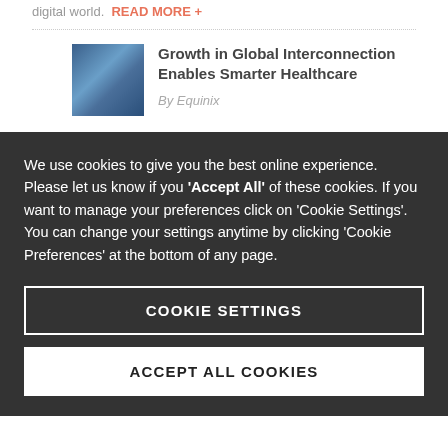digital world.  READ MORE +
[Figure (photo): Thumbnail image with blue-toned abstract or building photo]
Growth in Global Interconnection Enables Smarter Healthcare
By Equinix
We use cookies to give you the best online experience. Please let us know if you 'Accept All' of these cookies. If you want to manage your preferences click on 'Cookie Settings'. You can change your settings anytime by clicking 'Cookie Preferences' at the bottom of any page.
COOKIE SETTINGS
ACCEPT ALL COOKIES